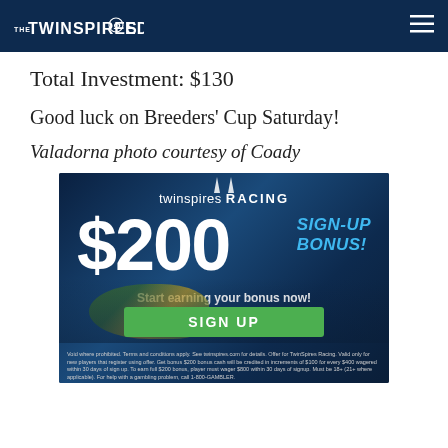THE TWINSPIRES EDGE
Total Investment: $130
Good luck on Breeders' Cup Saturday!
Valadorna photo courtesy of Coady
[Figure (photo): TwinSpires Racing advertisement banner showing $200 Sign-Up Bonus with a green Sign Up button, jockey on horseback in background, and fine print at bottom.]